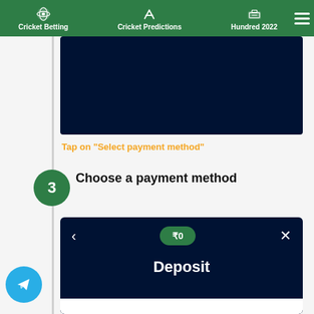Cricket Betting | Cricket Predictions | Hundred 2022
[Figure (screenshot): Dark blue (navy) screenshot area showing a cricket betting app interface, top portion]
Tap on “Select payment method”
3  Choose a payment method
[Figure (screenshot): Dark blue app screenshot showing Deposit screen with back arrow, ₹0 balance pill, close button, and Deposit title]